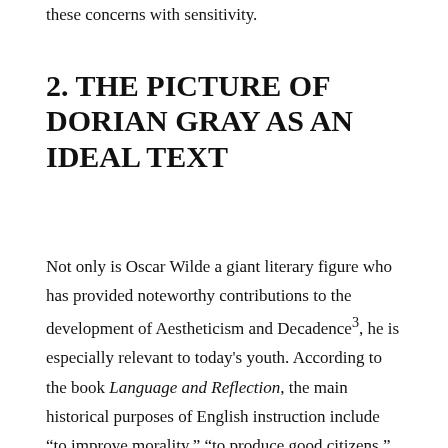these concerns with sensitivity.
2. THE PICTURE OF DORIAN GRAY AS AN IDEAL TEXT
Not only is Oscar Wilde a giant literary figure who has provided noteworthy contributions to the development of Aestheticism and Decadence³, he is especially relevant to today's youth. According to the book Language and Reflection, the main historical purposes of English instruction include “to improve morality,” “to produce good citizens,” and “to foster personal growth” (Gere 2-3). In addition, Dorian